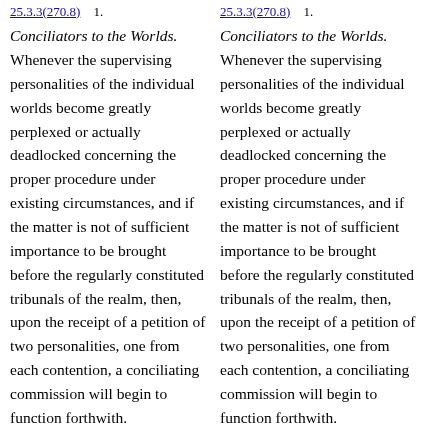25.3.3(270.8) 1.
Conciliators to the Worlds. Whenever the supervising personalities of the individual worlds become greatly perplexed or actually deadlocked concerning the proper procedure under existing circumstances, and if the matter is not of sufficient importance to be brought before the regularly constituted tribunals of the realm, then, upon the receipt of a petition of two personalities, one from each contention, a conciliating commission will begin to function forthwith.
25.3.3(270.8) 1.
Conciliators to the Worlds. Whenever the supervising personalities of the individual worlds become greatly perplexed or actually deadlocked concerning the proper procedure under existing circumstances, and if the matter is not of sufficient importance to be brought before the regularly constituted tribunals of the realm, then, upon the receipt of a petition of two personalities, one from each contention, a conciliating commission will begin to function forthwith.